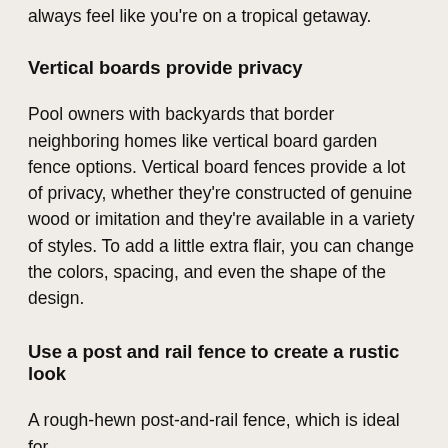always feel like you're on a tropical getaway.
Vertical boards provide privacy
Pool owners with backyards that border neighboring homes like vertical board garden fence options. Vertical board fences provide a lot of privacy, whether they're constructed of genuine wood or imitation and they're available in a variety of styles. To add a little extra flair, you can change the colors, spacing, and even the shape of the design.
Use a post and rail fence to create a rustic look
A rough-hewn post-and-rail fence, which is ideal for